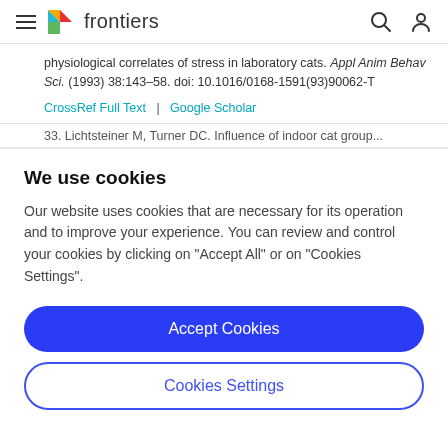frontiers
physiological correlates of stress in laboratory cats. Appl Anim Behav Sci. (1993) 38:143–58. doi: 10.1016/0168-1591(93)90062-T
CrossRef Full Text | Google Scholar
33. Lichtsteiner M, Turner DC. Influence of indoor cat group...
We use cookies
Our website uses cookies that are necessary for its operation and to improve your experience. You can review and control your cookies by clicking on "Accept All" or on "Cookies Settings".
Accept Cookies
Cookies Settings